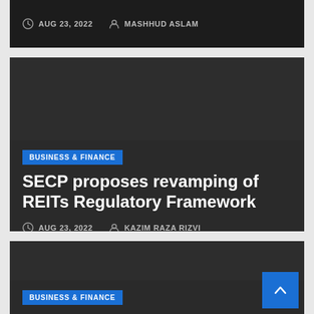AUG 23, 2022  MASHHUD ASLAM
BUSINESS & FINANCE
SECP proposes revamping of REITs Regulatory Framework
AUG 23, 2022  KAZIM RAZA RIZVI
BUSINESS & FINANCE
Monetary Policy Statement